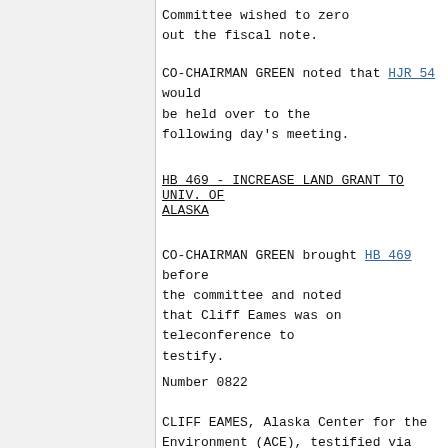Committee wished to zero out the fiscal note.
CO-CHAIRMAN GREEN noted that HJR 54 would be held over to the following day's meeting.
HB 469 - INCREASE LAND GRANT TO UNIV. OF ALASKA
CO-CHAIRMAN GREEN brought HB 469 before the committee and noted that Cliff Eames was on teleconference to testify.
Number 0822
CLIFF EAMES, Alaska Center for the Environment (ACE), testified via